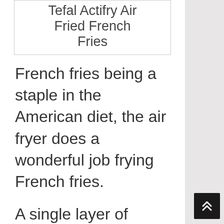Tefal Actifry Air Fried French Fries
French fries being a staple in the American diet, the air fryer does a wonderful job frying French fries.
A single layer of Frozen fries take about 12 minutes only to get that crispy outside and